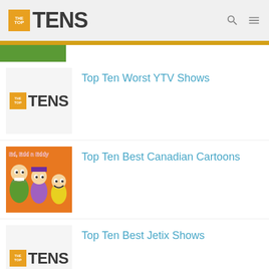THE TOP TENS
Top Ten Worst YTV Shows
Top Ten Best Canadian Cartoons
Top Ten Best Jetix Shows